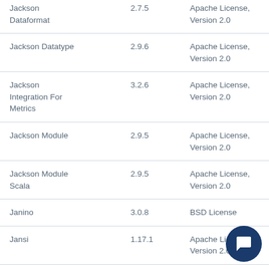| Component | Version | License |
| --- | --- | --- |
| Jackson Dataformat | 2.7.5 | Apache License, Version 2.0 |
| Jackson Datatype | 2.9.6 | Apache License, Version 2.0 |
| Jackson Integration For Metrics | 3.2.6 | Apache License, Version 2.0 |
| Jackson Module | 2.9.5 | Apache License, Version 2.0 |
| Jackson Module Scala | 2.9.5 | Apache License, Version 2.0 |
| Janino | 3.0.8 | BSD License |
| Jansi | 1.17.1 | Apache License, Version 2.0 |
| Java Agent For | 0.3.2 | Apache License, |